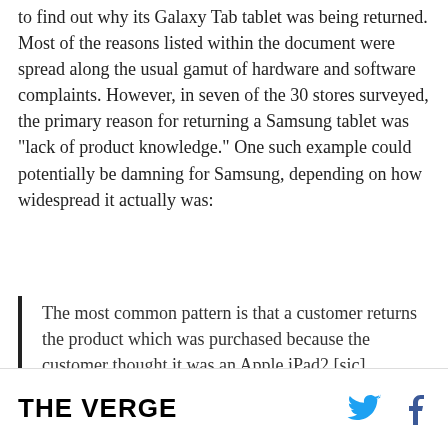to find out why its Galaxy Tab tablet was being returned. Most of the reasons listed within the document were spread along the usual gamut of hardware and software complaints. However, in seven of the 30 stores surveyed, the primary reason for returning a Samsung tablet was "lack of product knowledge." One such example could potentially be damning for Samsung, depending on how widespread it actually was:
The most common pattern is that a customer returns the product which was purchased because the customer thought it was an Apple iPad2 [sic]
THE VERGE